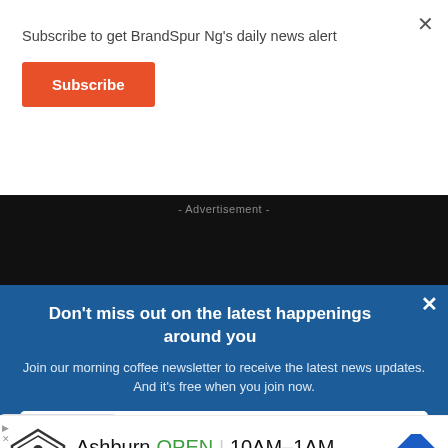Subscribe to get BrandSpur Ng's daily news alert
Subscribe
- Advertisement -
Don't miss out on the latest happenings around you
Join our morning coffee newsletter to receive the latest news updates. And it's free when you join now.
Email
[Figure (screenshot): Bottom advertisement showing Topgolf Ashburn location with open hours 10AM-1AM and address 20356 Commonwealth Center, with navigation icon]
Ashburn  OPEN | 10AM–1AM
20356 Commonwealth Center ...